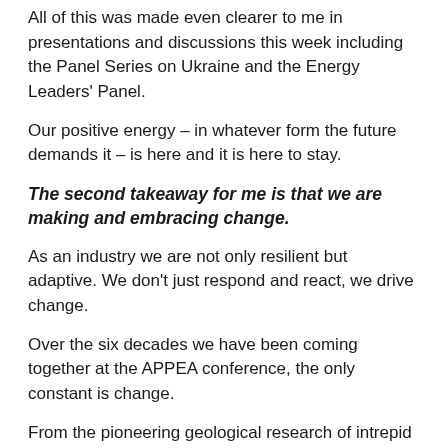All of this was made even clearer to me in presentations and discussions this week including the Panel Series on Ukraine and the Energy Leaders' Panel.
Our positive energy – in whatever form the future demands it – is here and it is here to stay.
The second takeaway for me is that we are making and embracing change.
As an industry we are not only resilient but adaptive. We don't just respond and react, we drive change.
Over the six decades we have been coming together at the APPEA conference, the only constant is change.
From the pioneering geological research of intrepid explorers in the nineteenth and early twentieth centuries.
To the major oil and gas discoveries in both the south-east and north-west of the nation.